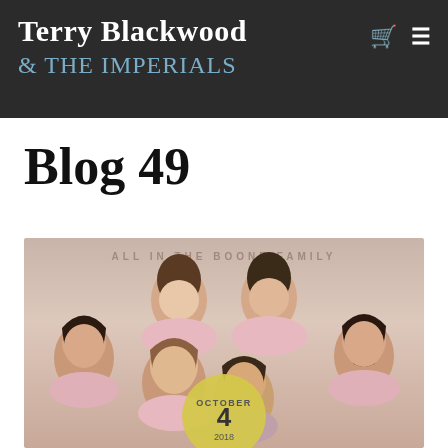Terry Blackwood & THE IMPERIALS
Blog 49
[Figure (photo): Group photo of approximately 6 people with long hair wearing pink/light colored clothing, with a circular golden date badge overlaid showing OCTOBER 4 2018, and faint text at top reading 'ALL IN THE BOONE FAMILY']